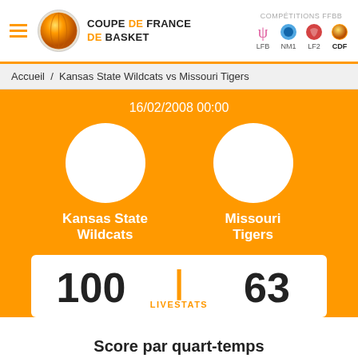COUPE DE FRANCE DE BASKET — COMPÉTITIONS FFBB — LFB NM1 LF2 CDF
Accueil / Kansas State Wildcats vs Missouri Tigers
16/02/2008 00:00
Kansas State Wildcats
Missouri Tigers
100 | 63 LIVESTATS
Score par quart-temps